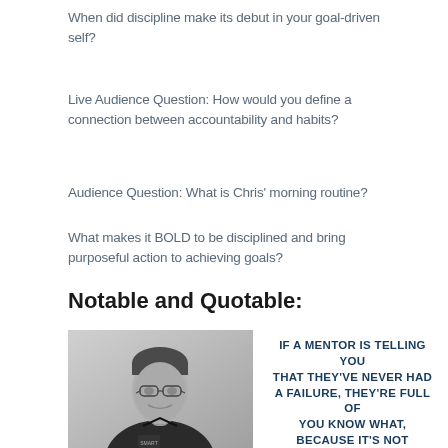When did discipline make its debut in your goal-driven self?
Live Audience Question: How would you define a connection between accountability and habits?
Audience Question: What is Chris' morning routine?
What makes it BOLD to be disciplined and bring purposeful action to achieving goals?
Notable and Quotable:
[Figure (photo): Black and white photo of a middle-aged man with glasses wearing a dark polo shirt, smiling slightly, against a light background.]
If a mentor is telling you that they've never had a failure, they're full of you know what, because it's not possible